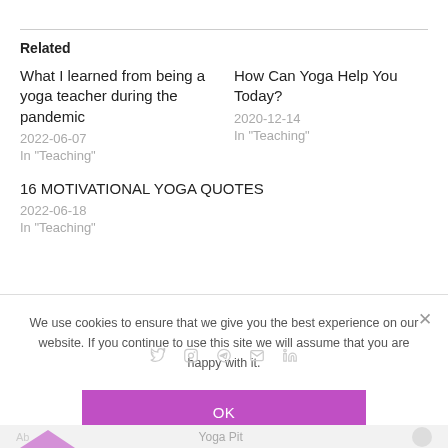Related
What I learned from being a yoga teacher during the pandemic
2022-06-07
In "Teaching"
How Can Yoga Help You Today?
2020-12-14
In "Teaching"
16 MOTIVATIONAL YOGA QUOTES
2022-06-18
In "Teaching"
We use cookies to ensure that we give you the best experience on our website. If you continue to use this site we will assume that you are happy with it.
Yoga Pit